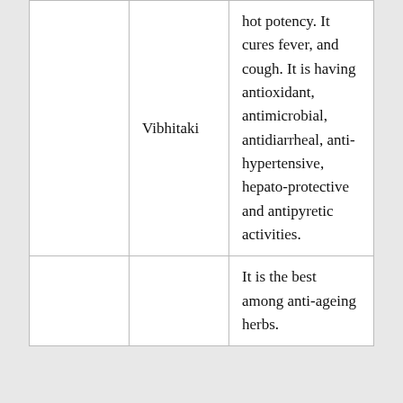|  | Vibhitaki | hot potency. It cures fever, and cough. It is having antioxidant, antimicrobial, antidiarrheal, anti-hypertensive, hepato-protective and antipyretic activities. |
|  |  | It is the best among anti-ageing herbs. |